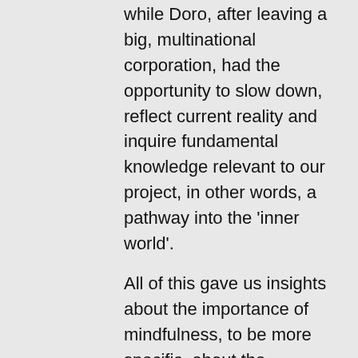while Doro, after leaving a big, multinational corporation, had the opportunity to slow down, reflect current reality and inquire fundamental knowledge relevant to our project, in other words, a pathway into the 'inner world'.
All of this gave us insights about the importance of mindfulness, to be more specific, about the importance of:
Being open and listening to the feelings that emerge;
Taking some time to understand what they mean - and where they come from;